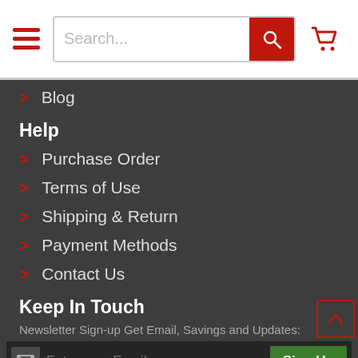[Figure (screenshot): Website header with hamburger menu, search bar, and cart icon]
> Blog
Help
> Purchase Order
> Terms of Use
> Shipping & Return
> Payment Methods
> Contact Us
Keep In Touch
Newsletter Sign-up Get Email, Savings and Updates:
Enter your Email
[Figure (infographic): Social media icons row: Facebook, Twitter, YouTube, and another icon]